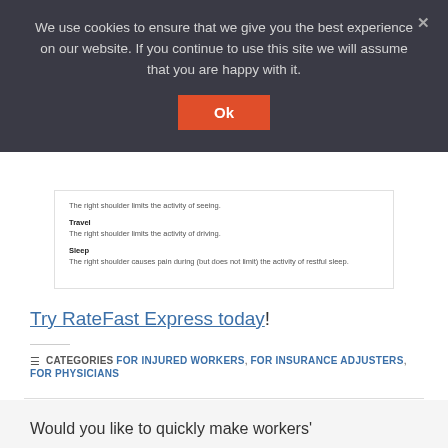We use cookies to ensure that we give you the best experience on our website. If you continue to use this site we will assume that you are happy with it.
Ok
The right shoulder limits the activity of seeing.
Travel
The right shoulder limits the activity of driving.
Sleep
The right shoulder causes pain during (but does not limit) the activity of restful sleep.
Try RateFast Express today!
CATEGORIES FOR INJURED WORKERS, FOR INSURANCE ADJUSTERS, FOR PHYSICIANS
Would you like to quickly make workers'